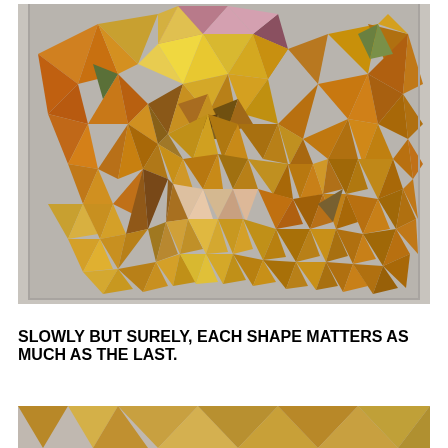[Figure (illustration): A colorful polygonal/low-poly artwork resembling a face or skull made from many triangular facets in warm oranges, yellows, browns, pinks, greens, and purples, displayed against a light gray background.]
SLOWLY BUT SURELY, EACH SHAPE MATTERS AS MUCH AS THE LAST.
[Figure (illustration): Partial view of another polygonal artwork at the bottom of the page, showing warm tan and brown tones, cropped.]